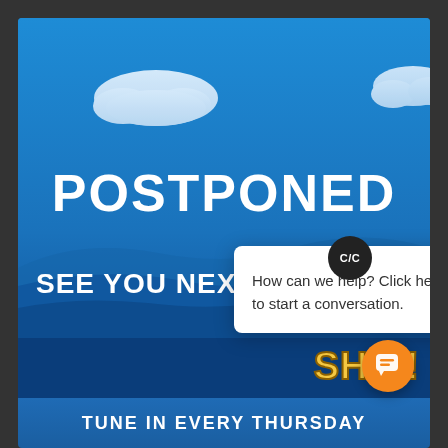[Figure (screenshot): A screenshot of a webpage showing a postponed event notice. Blue sky background with clouds. Large white bold text reads 'POSTPONED'. Below that 'SEE YOU NEXT THURSDAY...' text is partially obscured by a chat popup. A white chat popup overlay reads 'How can we help? Click here to start a conversation.' with a close button. Bottom right shows 'SHIP!' in yellow text. An orange chat button is in the bottom right corner. Bottom strip reads 'TUNE IN EVERY THURSDAY'.]